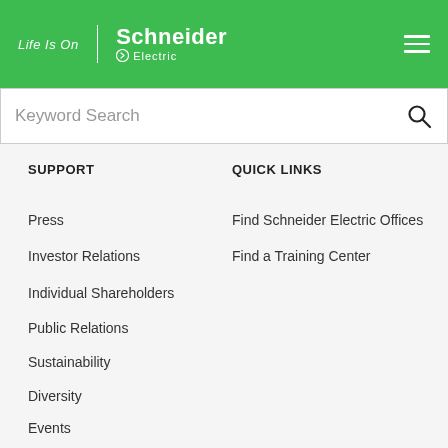[Figure (logo): Schneider Electric 'Life Is On' logo on green header with hamburger menu]
Keyword Search
Press
Find Schneider Electric Offices
Investor Relations
Find a Training Center
Individual Shareholders
Public Relations
Sustainability
Diversity
Events
Privacy Policy
SUPPORT
QUICK LINKS
Need help? Start here
All products